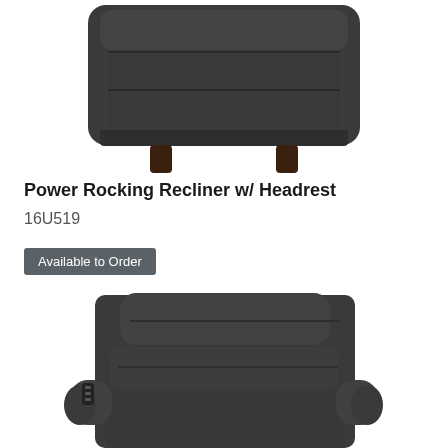[Figure (photo): Top-down or rear view of a dark charcoal/black recliner chair, showing the back cushion and two small wooden legs at the bottom, on a white background.]
Power Rocking Recliner w/ Headrest
16U519
Available to Order
[Figure (photo): Front view of a dark charcoal/black power rocking recliner chair with headrest cushion, mid-back cushion, armrests, and a remote control visible on the left side, on a white background.]